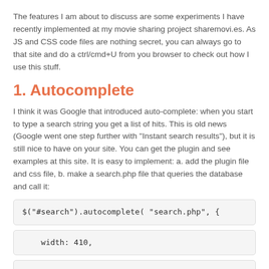The features I am about to discuss are some experiments I have recently implemented at my movie sharing project sharemovi.es. As JS and CSS code files are nothing secret, you can always go to that site and do a ctrl/cmd+U from you browser to check out how I use this stuff.
1. Autocomplete
I think it was Google that introduced auto-complete: when you start to type a search string you get a list of hits. This is old news (Google went one step further with "Instant search results"), but it is still nice to have on your site. You can get the plugin and see examples at this site. It is easy to implement: a. add the plugin file and css file, b. make a search.php file that queries the database and call it:
$("#search").autocomplete( "search.php", {
width: 410,
.. other optional settings ..